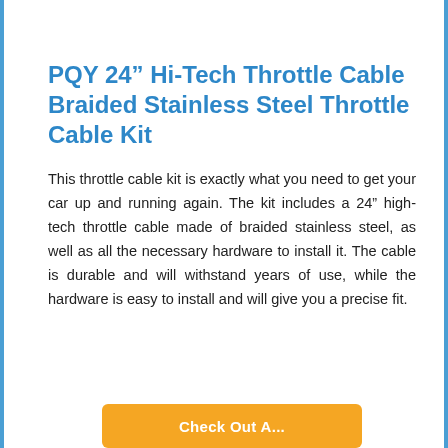PQY 24" Hi-Tech Throttle Cable Braided Stainless Steel Throttle Cable Kit
This throttle cable kit is exactly what you need to get your car up and running again. The kit includes a 24" high-tech throttle cable made of braided stainless steel, as well as all the necessary hardware to install it. The cable is durable and will withstand years of use, while the hardware is easy to install and will give you a precise fit.